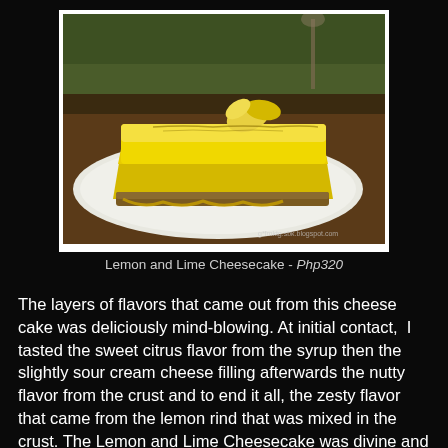[Figure (photo): A slice of lemon and lime cheesecake on a white plate, with a yellow citrus garnish on top, set on a wooden table with a wine glass in the background.]
Lemon and Lime Cheesecake - Php320
The layers of flavors that came out from this cheese cake was deliciously mind-blowing. At initial contact, I tasted the sweet citrus flavor from the syrup then the slightly sour cream cheese filling afterwards the nutty flavor from the crust and to end it all, the zesty flavor that came from the lemon rind that was mixed in the crust. The Lemon and Lime Cheesecake was divine and heavenly, my favorite cheesecake from the past is now forgotten, My Kitchen's Lemon and Lime Cheesecake is now my favorite.